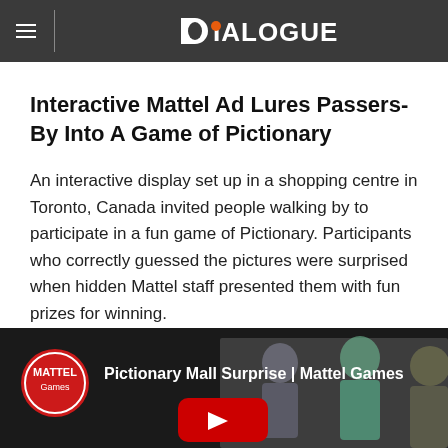Dialogue
Interactive Mattel Ad Lures Passers-By Into A Game of Pictionary
An interactive display set up in a shopping centre in Toronto, Canada invited people walking by to participate in a fun game of Pictionary. Participants who correctly guessed the pictures were surprised when hidden Mattel staff presented them with fun prizes for winning.
[Figure (screenshot): YouTube video thumbnail for 'Pictionary Mall Surprise | Mattel Games' showing people in a mall setting with a red YouTube play button overlay and Mattel Games logo badge on the left.]